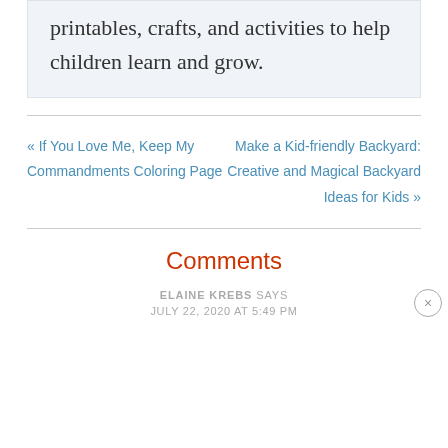printables, crafts, and activities to help children learn and grow.
« If You Love Me, Keep My Commandments Coloring Page
Make a Kid-friendly Backyard: Creative and Magical Backyard Ideas for Kids »
Comments
ELAINE KREBS says
JULY 22, 2020 AT 5:49 PM